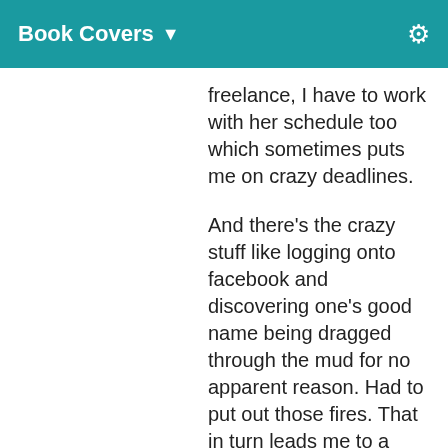Book Covers
freelance, I have to work with her schedule too which sometimes puts me on crazy deadlines.

And there's the crazy stuff like logging onto facebook and discovering one's good name being dragged through the mud for no apparent reason. Had to put out those fires. That in turn leads me to a new project. I don't want to go into the gory details, but I need to change out a majority of my covers, plus there's the older ones that are in dire need of updating anyway. So I might